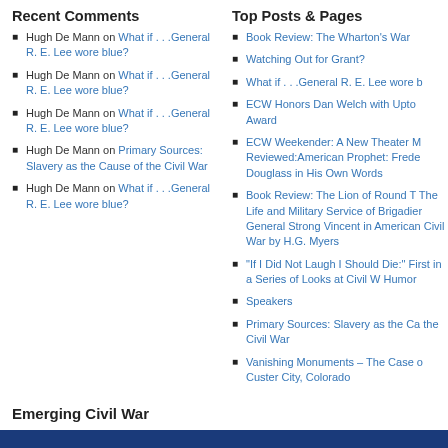Recent Comments
Hugh De Mann on What if . . .General R. E. Lee wore blue?
Hugh De Mann on What if . . .General R. E. Lee wore blue?
Hugh De Mann on What if . . .General R. E. Lee wore blue?
Hugh De Mann on Primary Sources: Slavery as the Cause of the Civil War
Hugh De Mann on What if . . .General R. E. Lee wore blue?
Top Posts & Pages
Book Review: The Wharton's War
Watching Out for Grant?
What if . . .General R. E. Lee wore b
ECW Honors Dan Welch with Upto Award
ECW Weekender: A New Theater M Reviewed:American Prophet: Frede Douglass in His Own Words
Book Review: The Lion of Round T The Life and Military Service of Brigadier General Strong Vincent in American Civil War by H.G. Myers
"If I Did Not Laugh I Should Die:" First in a Series of Looks at Civil W Humor
Speakers
Primary Sources: Slavery as the Ca the Civil War
Vanishing Monuments – The Case o Custer City, Colorado
Emerging Civil War